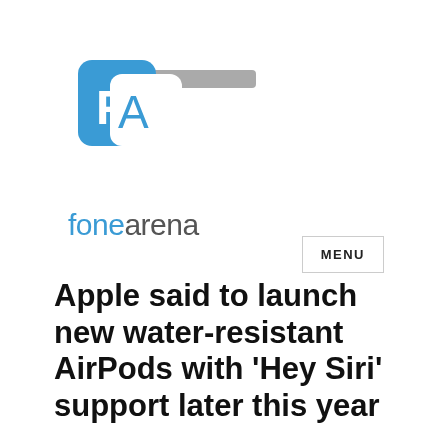[Figure (logo): FoneArena logo: two overlapping rounded squares with letters F and A in blue/white, with a grey horizontal rectangle extending to the right from the top]
MENU
fonearena
Apple said to launch new water-resistant AirPods with ‘Hey Siri’ support later this year